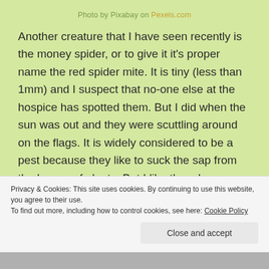Photo by Pixabay on Pexels.com
Another creature that I have seen recently is the money spider, or to give it it's proper name the red spider mite. It is tiny (less than 1mm) and I suspect that no-one else at the hospice has spotted them. But I did when the sun was out and they were scuttling around on the flags. It is widely considered to be a pest because they like to suck the sap from the leaves of plants. But I like them because they remind me of my first primary school where they could be seen the school's limestone walls. Here's a very
Privacy & Cookies: This site uses cookies. By continuing to use this website, you agree to their use.
To find out more, including how to control cookies, see here: Cookie Policy
Close and accept